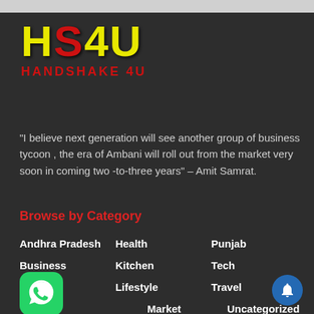[Figure (logo): HS4U Handshake 4U logo with yellow and red stylized text]
"I believe next generation will see another group of business tycoon , the era of Ambani will roll out from the market very soon in coming two -to-three years" – Amit Samrat.
Browse by Category
Andhra Pradesh
Health
Punjab
Business
Kitchen
Tech
Cinema
Lifestyle
Travel
Market
Uncategorized
Odisha
World
Education
Opinion